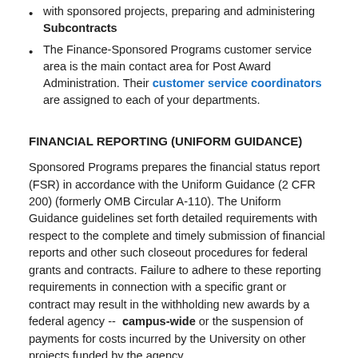with sponsored projects, preparing and administering Subcontracts
The Finance-Sponsored Programs customer service area is the main contact area for Post Award Administration. Their customer service coordinators are assigned to each of your departments.
FINANCIAL REPORTING (UNIFORM GUIDANCE)
Sponsored Programs prepares the financial status report (FSR) in accordance with the Uniform Guidance (2 CFR 200) (formerly OMB Circular A-110). The Uniform Guidance guidelines set forth detailed requirements with respect to the complete and timely submission of financial reports and other such closeout procedures for federal grants and contracts. Failure to adhere to these reporting requirements in connection with a specific grant or contract may result in the withholding new awards by a federal agency -- campus-wide or the suspension of payments for costs incurred by the University on other projects funded by the agency.